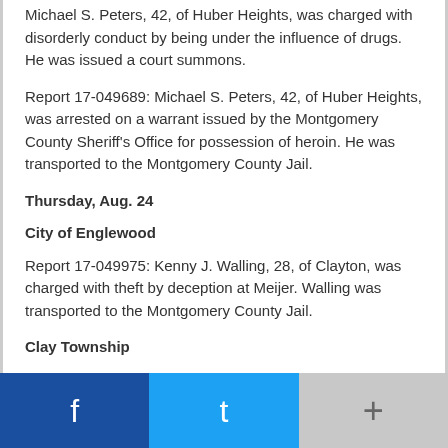Michael S. Peters, 42, of Huber Heights, was charged with disorderly conduct by being under the influence of drugs. He was issued a court summons.
Report 17-049689: Michael S. Peters, 42, of Huber Heights, was arrested on a warrant issued by the Montgomery County Sheriff's Office for possession of heroin. He was transported to the Montgomery County Jail.
Thursday, Aug. 24
City of Englewood
Report 17-049975: Kenny J. Walling, 28, of Clayton, was charged with theft by deception at Meijer. Walling was transported to the Montgomery County Jail.
Clay Township